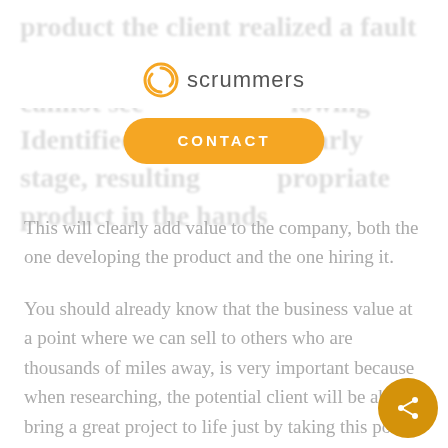[Figure (logo): Scrummers logo with orange circular icon and 'scrummers' text, plus orange CONTACT button]
This will clearly add value to the company, both the one developing the product and the one hiring it.
You should already know that the business value at a point where we can sell to others who are thousands of miles away, is very important because when researching, the potential client will be able to bring a great project to life just by taking this point into account.